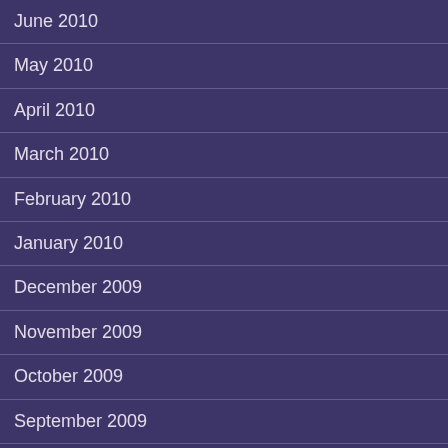June 2010
May 2010
April 2010
March 2010
February 2010
January 2010
December 2009
November 2009
October 2009
September 2009
August 2009
July 2009
June 2009